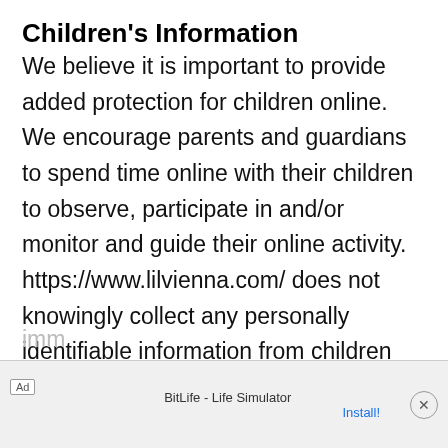Children's Information
We believe it is important to provide added protection for children online. We encourage parents and guardians to spend time online with their children to observe, participate in and/or monitor and guide their online activity. https://www.lilvienna.com/ does not knowingly collect any personally identifiable information from children under the age of 13. If a parent or guardian believes that https://www.lilvienna.com/ has in its database the personally-identifiable information of a child under the age of 13, please contact us imm[ediately and we will use our best efforts to promptly remove such information from our] para[graphs...]